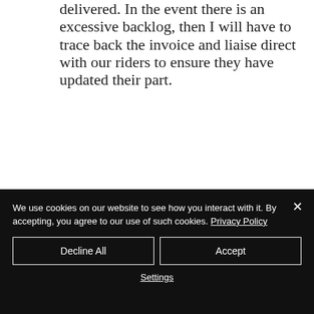delivered. In the event there is an excessive backlog, then I will have to trace back the invoice and liaise direct with our riders to ensure they have updated their part.
We use cookies on our website to see how you interact with it. By accepting, you agree to our use of such cookies. Privacy Policy
Decline All
Accept
Settings